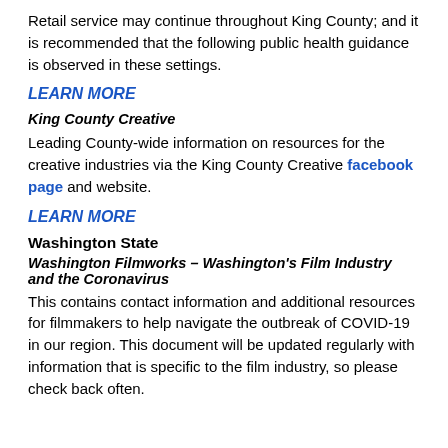Retail service may continue throughout King County; and it is recommended that the following public health guidance is observed in these settings.
LEARN MORE
King County Creative
Leading County-wide information on resources for the creative industries via the King County Creative facebook page and website.
LEARN MORE
Washington State
Washington Filmworks – Washington's Film Industry and the Coronavirus
This contains contact information and additional resources for filmmakers to help navigate the outbreak of COVID-19 in our region. This document will be updated regularly with information that is specific to the film industry, so please check back often.